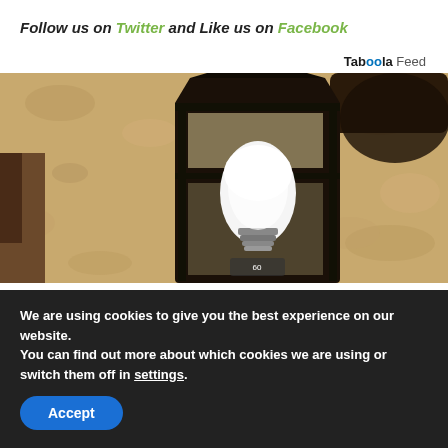Follow us on Twitter and Like us on Facebook
Taboola Feed
[Figure (photo): Close-up photo of an outdoor wall lantern with a black metal frame and a white LED bulb, mounted on a textured stucco wall.]
We are using cookies to give you the best experience on our website.
You can find out more about which cookies we are using or switch them off in settings.
Accept